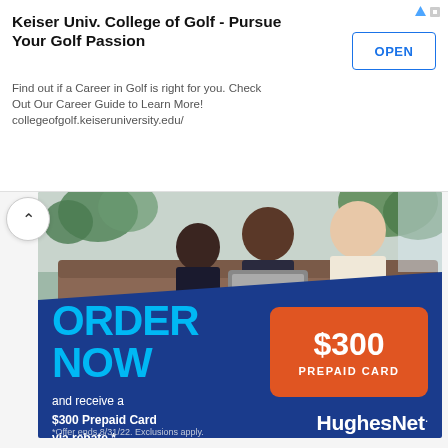Keiser Univ. College of Golf - Pursue Your Golf Passion
Find out if a Career in Golf is right for you. Check Out Our Career Guide to Learn More! collegeofgolf.keiseruniversity.edu/
OPEN
[Figure (photo): Family of three sitting on a couch looking at a laptop together, smiling. Background shows plants and pillows.]
ORDER NOW
and receive a $300 Prepaid Card via rebate.*
$300 PREPAID CARD
HughesNet.
*Offer ends 8/31/22. Exclusions apply.